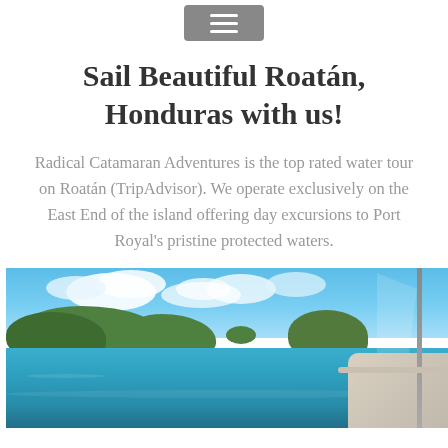≡
Sail Beautiful Roatán, Honduras with us!
Radical Catamaran Adventures is the top rated water tour on Roatán (TripAdvisor). We operate exclusively on the East End of the island offering day excursions to Port Royal's pristine protected waters.
[Figure (photo): Panoramic photo taken from a sailboat showing the turquoise waters and green hilly islands of Port Royal, Roatán, Honduras under a blue sky with white clouds. The bow/deck of the catamaran and a sail mast are visible on the right side of the photo.]